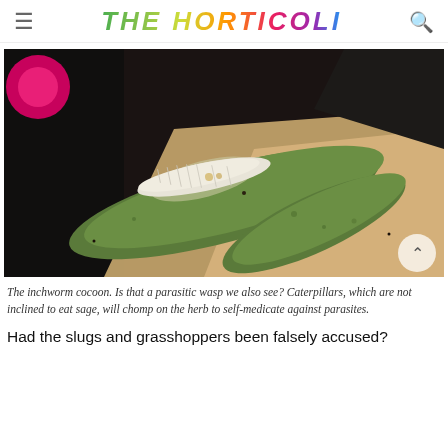THE HORTICOLI
[Figure (photo): Close-up photograph of an inchworm cocoon wrapped around sage leaves, with a pink object in the upper left corner and dark shadows in the background. A parasitic wasp may also be visible.]
The inchworm cocoon. Is that a parasitic wasp we also see? Caterpillars, which are not inclined to eat sage, will chomp on the herb to self-medicate against parasites.
Had the slugs and grasshoppers been falsely accused?